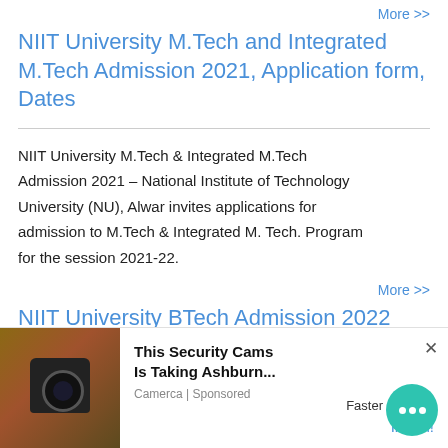More >>
NIIT University M.Tech and Integrated M.Tech Admission 2021, Application form, Dates
NIIT University M.Tech & Integrated M.Tech Admission 2021 – National Institute of Technology University (NU), Alwar invites applications for admission to M.Tech & Integrated M. Tech. Program for the session 2021-22.
More >>
NIIT University BTech Admission 2022 Dates, Eligibility, Application form
NIIT University B.Tech Admission 2022 – National Institute of Technology University (NU), New Delhi ... to the four-
[Figure (screenshot): Advertisement overlay showing a security camera ad from Camerca with title 'This Security Cams Is Taking Ashburn... Faster' with Install button and chat bubble icon]